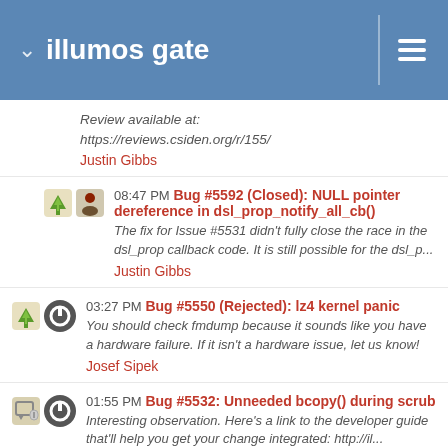illumos gate
Review available at:
https://reviews.csiden.org/r/155/
Justin Gibbs
08:47 PM Bug #5592 (Closed): NULL pointer dereference in dsl_prop_notify_all_cb()
The fix for Issue #5531 didn't fully close the race in the dsl_prop callback code. It is still possible for the dsl_p...
Justin Gibbs
03:27 PM Bug #5550 (Rejected): lz4 kernel panic
You should check fmdump because it sounds like you have a hardware failure. If it isn't a hardware issue, let us know!
Josef Sipek
01:55 PM Bug #5532: Unneeded bcopy() during scrub
Interesting observation. Here's a link to the developer guide that'll help you get your change integrated: http://il...